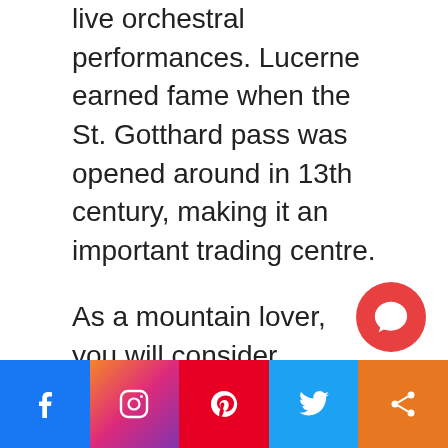live orchestral performances. Lucerne earned fame when the St. Gotthard pass was opened around in 13th century, making it an important trading centre.
As a mountain lover, you will consider Lucerne as the foremost choice, since it is a place that gives sensational Alpine rides. To have a splendid experience, you shall spectate the view from Mt. Pilatus and Mt. Rigi.
A very distinct tourist site is the Kapellbrücke, a wooden bridge constructed in 1333 that depicts beautiful scenes. Some timber-fr
[Figure (other): Social media share bar with Facebook, Instagram, Pinterest, Twitter, and Share buttons, plus a red chat bubble button overlay]